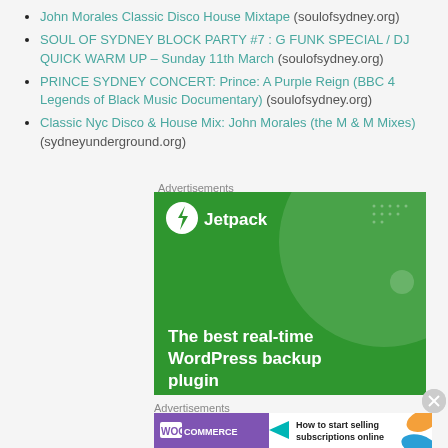John Morales Classic Disco House Mixtape (soulofsydney.org)
SOUL OF SYDNEY BLOCK PARTY #7 : G FUNK SPECIAL / DJ QUICK WARM UP – Sunday 11th March (soulofsydney.org)
PRINCE SYDNEY CONCERT: Prince: A Purple Reign (BBC 4 Legends of Black Music Documentary) (soulofsydney.org)
Classic Nyc Disco & House Mix: John Morales (the M & M Mixes) (sydneyunderground.org)
Advertisements
[Figure (screenshot): Jetpack advertisement banner: green background with large circle, Jetpack logo in top-left, text reading 'The best real-time WordPress backup plugin']
Advertisements
[Figure (screenshot): WooCommerce advertisement banner: purple WooCommerce logo on left, teal arrow, text 'How to start selling subscriptions online', orange and blue decorative shapes on right]